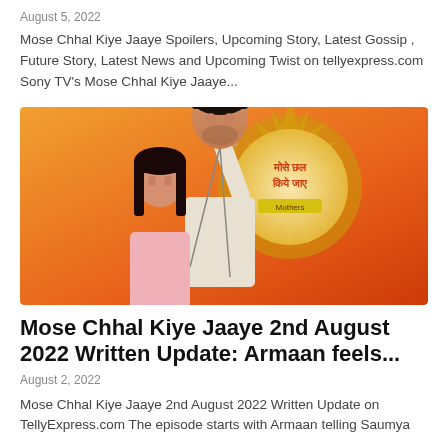August 5, 2022
Mose Chhal Kiye Jaaye Spoilers, Upcoming Story, Latest Gossip , Future Story, Latest News and Upcoming Twist on tellyexpress.com Sony TV's Mose Chhal Kiye Jaaye...
[Figure (photo): Promotional image for Sony TV's Mose Chhal Kiye Jaaye showing two lead actors on an orange background with the show logo on the right side]
Mose Chhal Kiye Jaaye 2nd August 2022 Written Update: Armaan feels...
August 2, 2022
Mose Chhal Kiye Jaaye 2nd August 2022 Written Update on TellyExpress.com The episode starts with Armaan telling Saumya